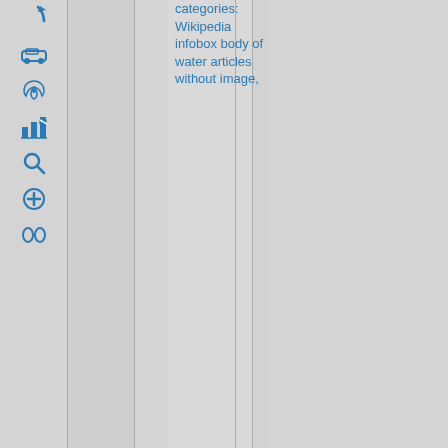[Figure (infographic): Wikipedia-style interface showing a left sidebar with blue icons: curved arrow, car, spiral, bar chart/statistics, magnifying glass, plus symbol, and chain link. Multiple vertical column dividers separate the page into sections. Text in blue reads 'categories: Wikipedia infobox body of water articles without image,']
categories: Wikipedia infobox body of water articles without image,